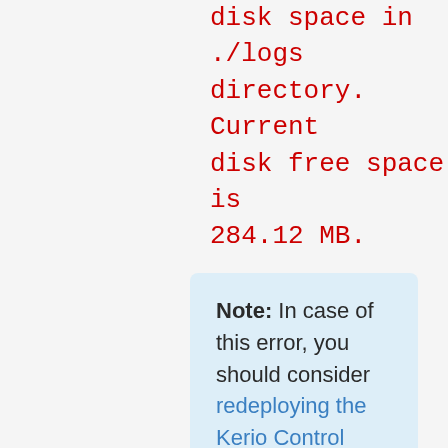disk space in ./logs directory. Current disk free space is 284.12 MB.
Note: In case of this error, you should consider redeploying the Kerio Control appliance with a bigger disk to get more storage space.
Important: if HTTP cache is configured, the storage space UI will allow deleting HTTP...